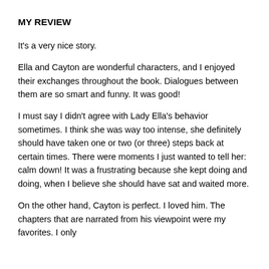MY REVIEW
It's a very nice story.
Ella and Cayton are wonderful characters, and I enjoyed their exchanges throughout the book. Dialogues between them are so smart and funny. It was good!
I must say I didn't agree with Lady Ella's behavior sometimes. I think she was way too intense, she definitely should have taken one or two (or three) steps back at certain times. There were moments I just wanted to tell her: calm down! It was a frustrating because she kept doing and doing, when I believe she should have sat and waited more.
On the other hand, Cayton is perfect. I loved him. The chapters that are narrated from his viewpoint were my favorites. I only